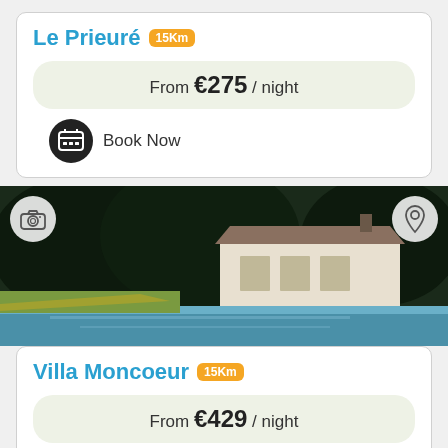Le Prieuré 15Km
From €275 / night
Book Now
[Figure (photo): Exterior photo of a French country house/manor with swimming pool in foreground, surrounded by trees, with camera and location pin overlay icons]
Villa Moncoeur 15Km
From €429 / night
Book Now